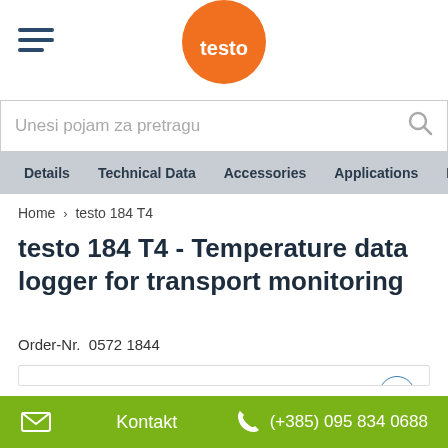[Figure (logo): Testo orange circle logo with white 'testo' text, positioned at top center]
Unesi pojam za pretragu
Details | Technical Data | Accessories | Applications | Downlo...
Home > testo 184 T4
testo 184 T4 - Temperature data logger for transport monitoring
Order-Nr.  0572 1844
[Figure (photo): testo 184 T4 temperature data logger device, small rectangular grey unit with 'testo' and '184 T4' labels, with START STOP buttons visible at bottom]
Kontakt  (+385) 095 834 0688